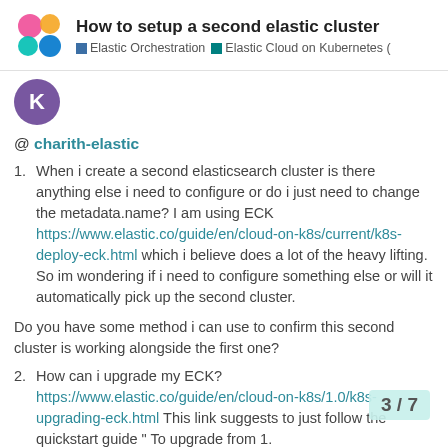How to setup a second elastic cluster | Elastic Orchestration | Elastic Cloud on Kubernetes (
[Figure (logo): Elastic/Kibana colorful logo with pink, yellow, green, and blue circles]
[Figure (illustration): Purple avatar circle with letter K]
@ charith-elastic
When i create a second elasticsearch cluster is there anything else i need to configure or do i just need to change the metadata.name? I am using ECK https://www.elastic.co/guide/en/cloud-on-k8s/current/k8s-deploy-eck.html which i believe does a lot of the heavy lifting. So im wondering if i need to configure something else or will it automatically pick up the second cluster.
Do you have some method i can use to confirm this second cluster is working alongside the first one?
How can i upgrade my ECK? https://www.elastic.co/guide/en/cloud-on-k8s/1.0/k8s-upgrading-eck.html This link suggests to just follow the quickstart guide " To upgrade from 1. Quickstart. ". So is it essentially just
3 / 7